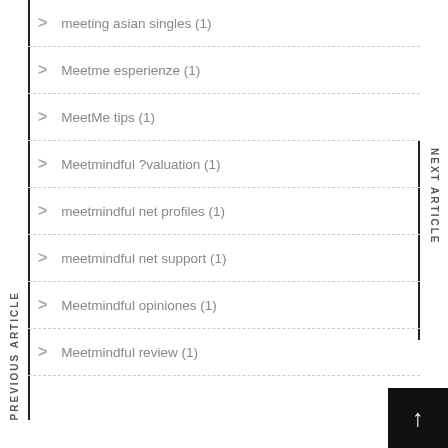meeting asian singles (1)
Meetme esperienze (1)
MeetMe tips (1)
Meetmindful ?valuation (1)
meetmindful net profiles (1)
meetmindful net support (1)
Meetmindful opiniones (1)
Meetmindful review (1)